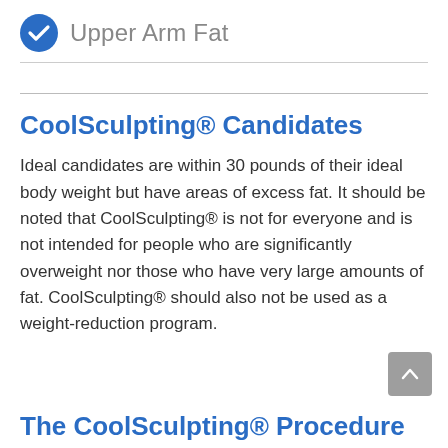Upper Arm Fat
CoolSculpting® Candidates
Ideal candidates are within 30 pounds of their ideal body weight but have areas of excess fat. It should be noted that CoolSculpting® is not for everyone and is not intended for people who are significantly overweight nor those who have very large amounts of fat. CoolSculpting® should also not be used as a weight-reduction program.
The CoolSculpting® Procedure